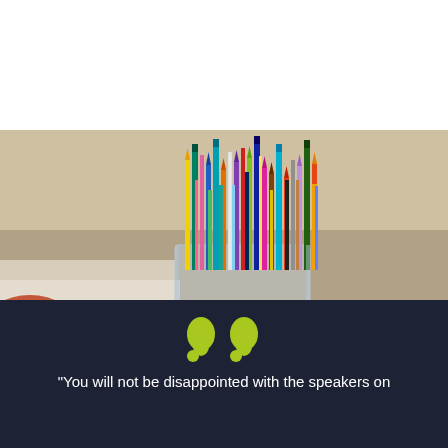[Figure (photo): Photograph of a cup or container filled with many colorful pencils, pens, and markers of various colors, photographed from slightly above against a blurred background]
"You will not be disappointed with the speakers on